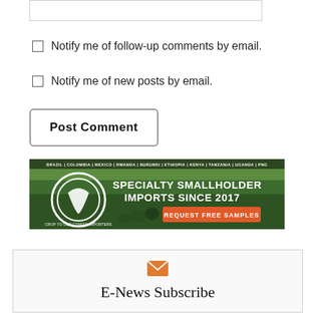Notify me of follow-up comments by email.
Notify me of new posts by email.
Post Comment
[Figure (illustration): Advertising banner for Crop to Cup Coffee Importers showing smallholder farmers in a green field. Text reads: BRAZIL | COLOMBIA | MEXICO | RWANDA | BURUNDI | ETHIOPIA | KENYA | TANZANIA | UGANDA | PNG. SPECIALTY SMALLHOLDER IMPORTS SINCE 2017. REQUEST FREE SAMPLES.]
E-News Subscribe